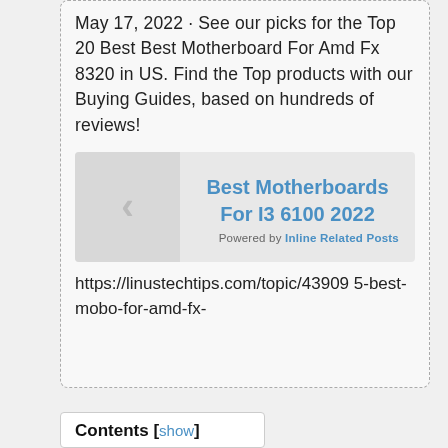May 17, 2022 · See our picks for the Top 20 Best Best Motherboard For Amd Fx 8320 in US. Find the Top products with our Buying Guides, based on hundreds of reviews!
[Figure (other): Related post block with left arrow thumbnail and link titled 'Best Motherboards For I3 6100 2022', with 'Powered by Inline Related Posts' footer]
https://linustechtips.com/topic/43909 5-best-mobo-for-amd-fx-
Contents [show]